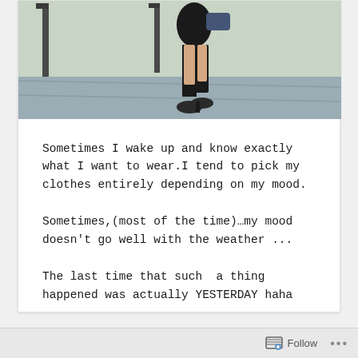[Figure (photo): Street fashion photo showing a person walking on a sidewalk, wearing a black outfit with heels and holding a bag. The background shows a building wall. Image is cropped showing mainly the lower half of the person.]
Sometimes I wake up and know exactly what I want to wear.I tend to pick my clothes entirely depending on my mood.
Sometimes,(most of the time)…my mood doesn't go well with the weather ...
The last time that such  a thing happened was actually YESTERDAY haha
Follow ...